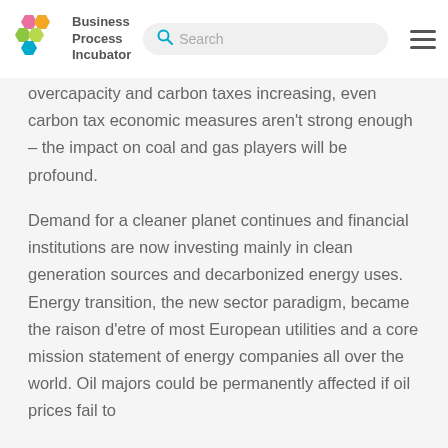Business Process Incubator
overcapacity and carbon taxes increasing, even carbon tax economic measures aren't strong enough – the impact on coal and gas players will be profound.
Demand for a cleaner planet continues and financial institutions are now investing mainly in clean generation sources and decarbonized energy uses. Energy transition, the new sector paradigm, became the raison d'etre of most European utilities and a core mission statement of energy companies all over the world. Oil majors could be permanently affected if oil prices fail to